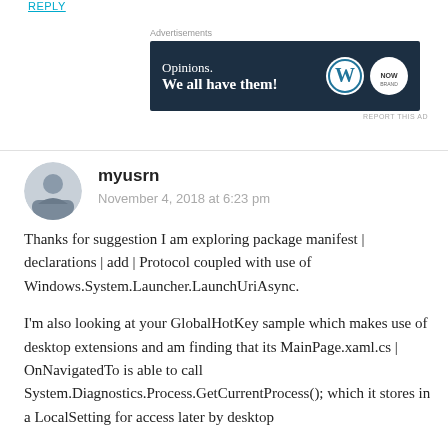REPLY
[Figure (screenshot): Advertisement banner with dark navy background showing 'Opinions. We all have them!' with WordPress logo and another circular logo on the right]
myusrn
November 4, 2018 at 6:23 pm
Thanks for suggestion I am exploring package manifest | declarations | add | Protocol coupled with use of Windows.System.Launcher.LaunchUriAsync.
I'm also looking at your GlobalHotKey sample which makes use of desktop extensions and am finding that its MainPage.xaml.cs | OnNavigatedTo is able to call System.Diagnostics.Process.GetCurrentProcess(); which it stores in a LocalSetting for access later by desktop